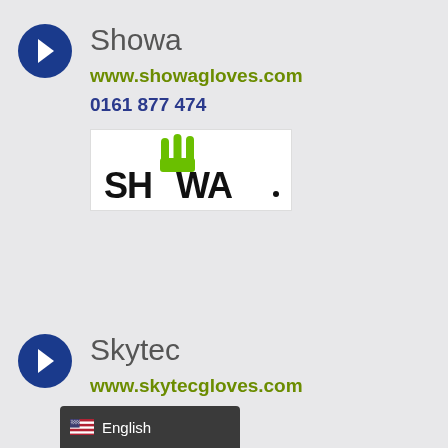Showa
www.showagloves.com
0161 877 474
[Figure (logo): Showa brand logo with green hand graphic above black SHOWA text]
Skytec
www.skytecgloves.com
877 4747
English